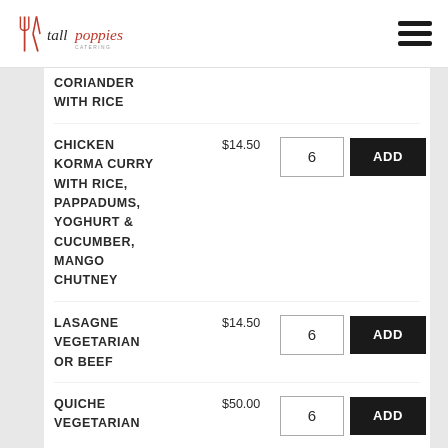tall poppies catering
CORIANDER WITH RICE
CHICKEN KORMA CURRY WITH RICE, PAPPADUMS, YOGHURT & CUCUMBER, MANGO CHUTNEY - $14.50 - qty: 6 - ADD
LASAGNE VEGETARIAN OR BEEF - $14.50 - qty: 6 - ADD
QUICHE VEGETARIAN... - $50.00 - qty: 6 - ADD